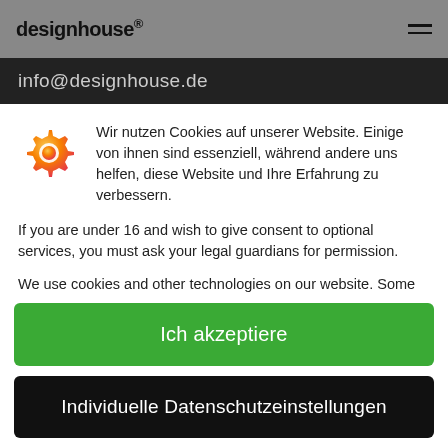designhouse®
info@designhouse.de
Wir nutzen Cookies auf unserer Website. Einige von ihnen sind essenziell, während andere uns helfen, diese Website und Ihre Erfahrung zu verbessern.
If you are under 16 and wish to give consent to optional services, you must ask your legal guardians for permission.
We use cookies and other technologies on our website. Some of them are essential, while others help us to improve this website and your experience. Personal data may be processed (e.g. IP addresses), for example for personalized ads and content or ad and
Ich akzeptiere
Individuelle Datenschutzeinstellungen